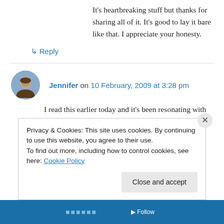It's heartbreaking stuff but thanks for sharing all of it. It's good to lay it bare like that. I appreciate your honesty.
↳ Reply
Jennifer on 10 February, 2009 at 3:28 pm
I read this earlier today and it's been resonating with me. There's a lot here to unpack in this story of first love gone wrong. Not everyone has such a dramatic beginning to their romantic lives, with
Privacy & Cookies: This site uses cookies. By continuing to use this website, you agree to their use.
To find out more, including how to control cookies, see here: Cookie Policy
Close and accept